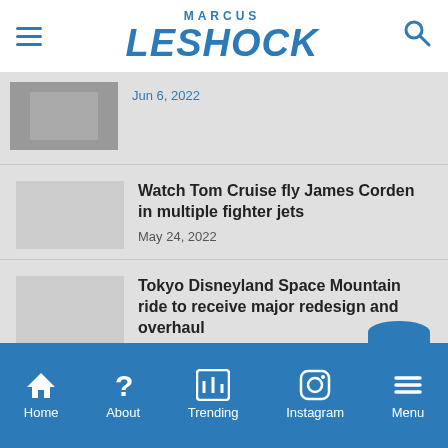Marcus Leshock
Jun 6, 2022
Watch Tom Cruise fly James Corden in multiple fighter jets
May 24, 2022
Tokyo Disneyland Space Mountain ride to receive major redesign and overhaul
Apr 27, 2022
POPULAR CATEGORIES
Home About Trending Instagram Menu